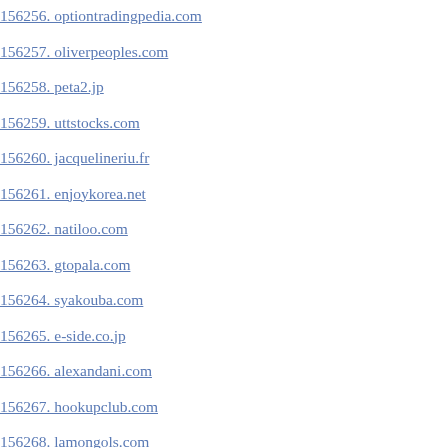156256. optiontradingpedia.com
156257. oliverpeoples.com
156258. peta2.jp
156259. uttstocks.com
156260. jacquelineriu.fr
156261. enjoykorea.net
156262. natiloo.com
156263. gtopala.com
156264. syakouba.com
156265. e-side.co.jp
156266. alexandani.com
156267. hookupclub.com
156268. lamongols.com
156269. linkmanagement.de